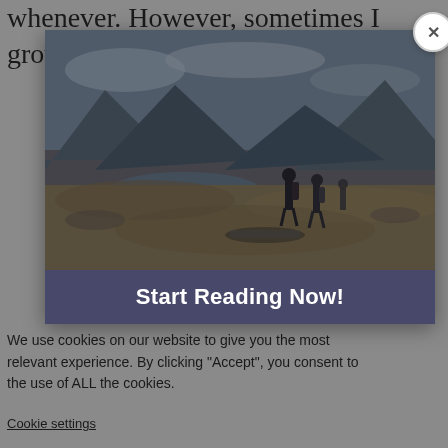whenever. However, sometimes I grow weary of...
[Figure (screenshot): Modal popup overlaying a webpage. The modal contains a landscape photo of hikers near a mountain lake, with a close (×) button at top right, and a dark banner at the bottom reading 'Start Reading Now!'. Behind the modal, partially visible webpage text reads: 'We use cookies on our website to give you the most relevant experience. By clicking "Accept", you consent to the use of ALL the cookies.' with a 'Cookie settings' link.]
We use cookies on our website to give you the most relevant experience. By clicking "Accept", you consent to the use of ALL the cookies.
Cookie settings